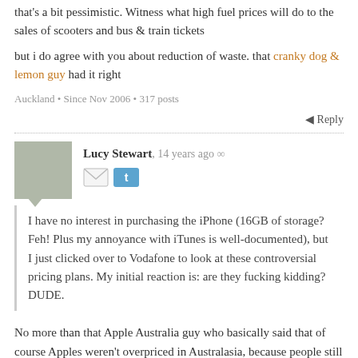that's a bit pessimistic. Witness what high fuel prices will do to the sales of scooters and bus & train tickets
but i do agree with you about reduction of waste. that cranky dog & lemon guy had it right
Auckland • Since Nov 2006 • 317 posts
↵ Reply
Lucy Stewart, 14 years ago ∞
I have no interest in purchasing the iPhone (16GB of storage? Feh! Plus my annoyance with iTunes is well-documented), but I just clicked over to Vodafone to look at these controversial pricing plans. My initial reaction is: are they fucking kidding? DUDE.
No more than that Apple Australia guy who basically said that of course Apples weren't overpriced in Australasia, because people still bought them. As long as they have some kind of